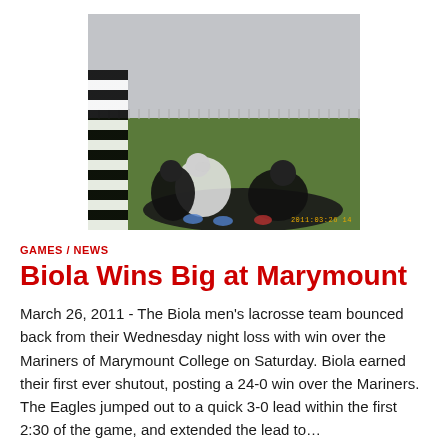[Figure (photo): Photo of a lacrosse game with players on a green field, a referee in a black and white striped shirt on the left, taken at Marymount College. Timestamp visible in bottom right corner.]
GAMES / NEWS
Biola Wins Big at Marymount
March 26, 2011 - The Biola men's lacrosse team bounced back from their Wednesday night loss with win over the Mariners of Marymount College on Saturday. Biola earned their first ever shutout, posting a 24-0 win over the Mariners. The Eagles jumped out to a quick 3-0 lead within the first 2:30 of the game, and extended the lead to…